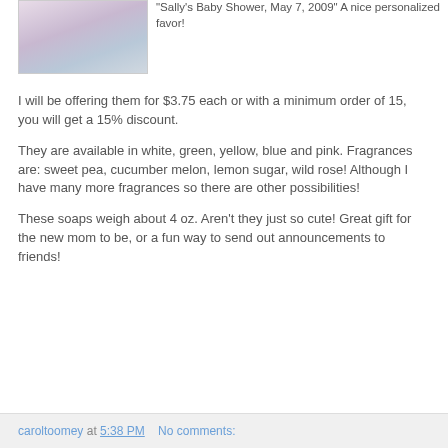[Figure (photo): Photo of baby shower soap favors]
from the event titled "Sally's Baby Shower, May 7, 2009" A nice personalized favor!
I will be offering them for $3.75 each or with a minimum order of 15, you will get a 15% discount.
They are available in white, green, yellow, blue and pink. Fragrances are: sweet pea, cucumber melon, lemon sugar, wild rose! Although I have many more fragrances so there are other possibilities!
These soaps weigh about 4 oz. Aren't they just so cute! Great gift for the new mom to be, or a fun way to send out announcements to friends!
caroltoomey at 5:38 PM   No comments: